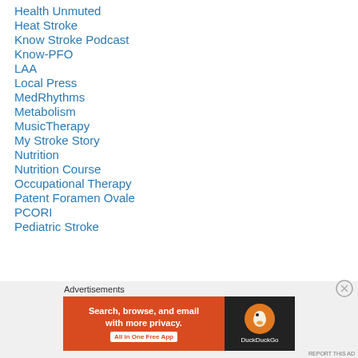Health Unmuted
Heat Stroke
Know Stroke Podcast
Know-PFO
LAA
Local Press
MedRhythms
Metabolism
MusicTherapy
My Stroke Story
Nutrition
Nutrition Course
Occupational Therapy
Patent Foramen Ovale
PCORI
Pediatric Stroke
Advertisements
[Figure (screenshot): DuckDuckGo advertisement banner: orange left panel with text 'Search, browse, and email with more privacy. All in One Free App' and dark right panel with DuckDuckGo duck logo]